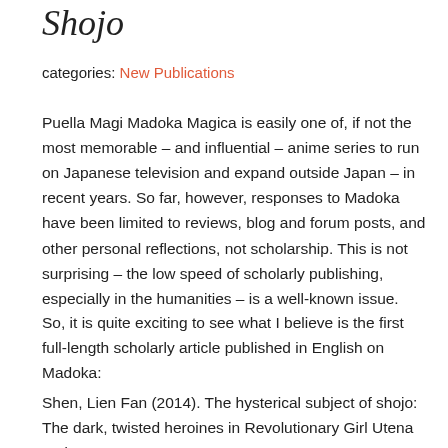Shojo
categories: New Publications
Puella Magi Madoka Magica is easily one of, if not the most memorable – and influential – anime series to run on Japanese television and expand outside Japan – in recent years. So far, however, responses to Madoka have been limited to reviews, blog and forum posts, and other personal reflections, not scholarship. This is not surprising – the low speed of scholarly publishing, especially in the humanities – is a well-known issue.
So, it is quite exciting to see what I believe is the first full-length scholarly article published in English on Madoka:
Shen, Lien Fan (2014). The hysterical subject of shojo: The dark, twisted heroines in Revolutionary Girl Utena and